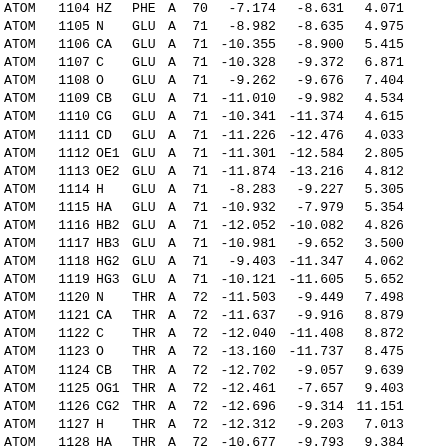| type | serial | name | res | chain | resseq | x | y | z | ... |
| --- | --- | --- | --- | --- | --- | --- | --- | --- | --- |
| ATOM | 1104 | HZ | PHE | A | 70 | -7.174 | -8.631 | 4.071 |  |
| ATOM | 1105 | N | GLU | A | 71 | -8.982 | -8.635 | 4.975 |  |
| ATOM | 1106 | CA | GLU | A | 71 | -10.355 | -8.900 | 5.415 |  |
| ATOM | 1107 | C | GLU | A | 71 | -10.328 | -9.372 | 6.871 |  |
| ATOM | 1108 | O | GLU | A | 71 | -9.262 | -9.676 | 7.404 |  |
| ATOM | 1109 | CB | GLU | A | 71 | -11.010 | -9.982 | 4.534 |  |
| ATOM | 1110 | CG | GLU | A | 71 | -10.341 | -11.374 | 4.615 |  |
| ATOM | 1111 | CD | GLU | A | 71 | -11.226 | -12.476 | 4.033 |  |
| ATOM | 1112 | OE1 | GLU | A | 71 | -11.301 | -12.584 | 2.805 |  |
| ATOM | 1113 | OE2 | GLU | A | 71 | -11.874 | -13.216 | 4.812 |  |
| ATOM | 1114 | H | GLU | A | 71 | -8.283 | -9.227 | 5.305 |  |
| ATOM | 1115 | HA | GLU | A | 71 | -10.932 | -7.979 | 5.354 |  |
| ATOM | 1116 | HB2 | GLU | A | 71 | -12.052 | -10.082 | 4.826 |  |
| ATOM | 1117 | HB3 | GLU | A | 71 | -10.981 | -9.652 | 3.500 |  |
| ATOM | 1118 | HG2 | GLU | A | 71 | -9.403 | -11.347 | 4.062 |  |
| ATOM | 1119 | HG3 | GLU | A | 71 | -10.121 | -11.605 | 5.652 |  |
| ATOM | 1120 | N | THR | A | 72 | -11.503 | -9.449 | 7.498 |  |
| ATOM | 1121 | CA | THR | A | 72 | -11.637 | -9.916 | 8.879 |  |
| ATOM | 1122 | C | THR | A | 72 | -12.040 | -11.408 | 8.872 |  |
| ATOM | 1123 | O | THR | A | 72 | -13.160 | -11.737 | 8.475 |  |
| ATOM | 1124 | CB | THR | A | 72 | -12.702 | -9.057 | 9.639 |  |
| ATOM | 1125 | OG1 | THR | A | 72 | -12.461 | -7.657 | 9.403 |  |
| ATOM | 1126 | CG2 | THR | A | 72 | -12.696 | -9.314 | 11.151 |  |
| ATOM | 1127 | H | THR | A | 72 | -12.312 | -9.203 | 7.013 |  |
| ATOM | 1128 | HA | THR | A | 72 | -10.677 | -9.793 | 9.384 |  |
| ATOM | 1129 | HB | THR | A | 72 | -13.689 | -9.298 | 9.252 |  |
| ATOM | 1130 | HG1 | THR | A | 72 | -13.305 | -7.190 | 9.378 |  |
| ATOM | 1131 | HG21 | THR | A | 72 | -13.460 | -8.714 | 11.628 |  |
| ATOM | 1132 | HG22 | THR | A | 72 | -11.729 | -9.048 | 11.562 |  |
| ATOM | 1133 | HG23 | THR | A | 72 | -12.890 | -10.361 | 11.347 |  |
| ATOM | 1134 | N | ARG | A | 72 | -11.106 | -12.390 | 9.255 |  |